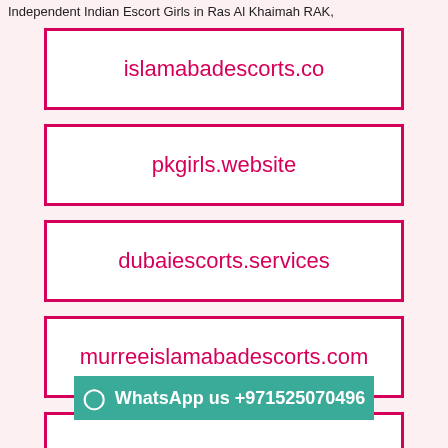Independent Indian Escort Girls in Ras Al Khaimah RAK,
islamabadescorts.co
pkgirls.website
dubaiescorts.services
murreeislamabadescorts.com
WhatsApp us +971525070496